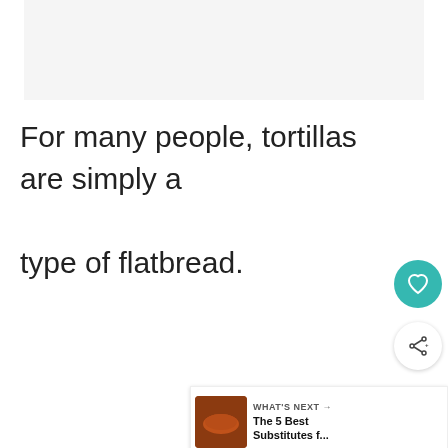[Figure (other): Light gray image placeholder area at top of page]
For many people, tortillas are simply a type of flatbread.
[Figure (other): Teal circular heart/favorite button icon]
[Figure (other): White circular share button icon with share arrows and plus sign]
[Figure (other): WHAT'S NEXT card showing sausage image with text: The 5 Best Substitutes f...]
However, there is much more to these
[Figure (other): Advertisement banner: Ukraine flag with text 'We Stand With You' and close X button, with dark background and secondary logo]